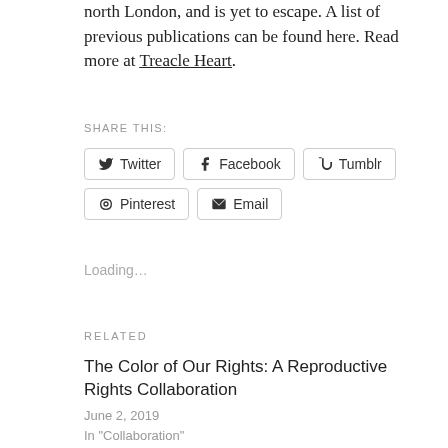north London, and is yet to escape. A list of previous publications can be found here. Read more at Treacle Heart.
SHARE THIS:
Twitter | Facebook | Tumblr | Pinterest | Email
Loading...
RELATED
The Color of Our Rights: A Reproductive Rights Collaboration
June 2, 2019
In "Collaboration"